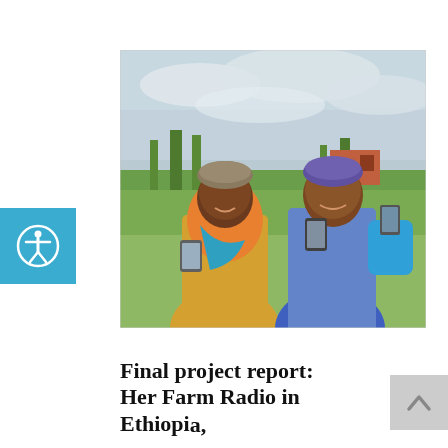[Figure (photo): Two African women outdoors, smiling and holding up smartphones toward the camera. The woman on the left wears a yellow top and colorful scarf with a patterned headwrap; the woman on the right wears a blue and white patterned dress with a purple headwrap and blue sleeve. A green field and a brick building are visible in the background under a cloudy sky.]
Final project report: Her Farm Radio in Ethiopia, Malawi…